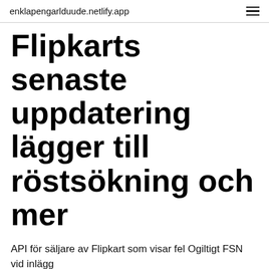enklapengarlduude.netlify.app
Flipkarts senaste uppdatering lägger till röstsökning och mer
API för säljare av Flipkart som visar fel Ogiltigt FSN vid inlägg
More about Flipkart APK. 2017-08-03 2016-04-26 Flipkart is the official application for the online store